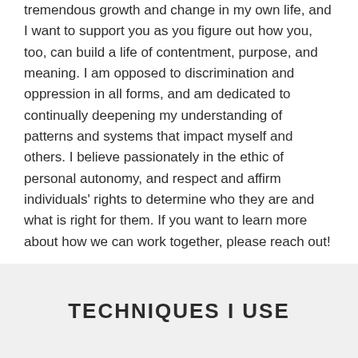tremendous growth and change in my own life, and I want to support you as you figure out how you, too, can build a life of contentment, purpose, and meaning. I am opposed to discrimination and oppression in all forms, and am dedicated to continually deepening my understanding of patterns and systems that impact myself and others. I believe passionately in the ethic of personal autonomy, and respect and affirm individuals' rights to determine who they are and what is right for them. If you want to learn more about how we can work together, please reach out!
TECHNIQUES I USE